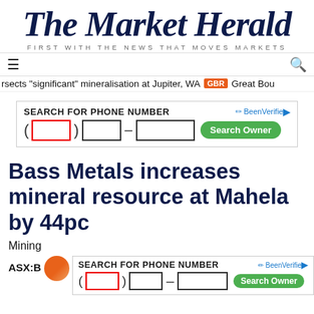The Market Herald — FIRST WITH THE NEWS THAT MOVES MARKETS
rsects "significant" mineralisation at Jupiter, WA  GBR  Great Bou
[Figure (screenshot): BeenVerified advertisement: SEARCH FOR PHONE NUMBER with phone number input fields and Search Owner button]
Bass Metals increases mineral resource at Mahela by 44pc
Mining
ASX:B
[Figure (screenshot): BeenVerified advertisement: SEARCH FOR PHONE NUMBER with phone number input fields and Search Owner button (second instance)]